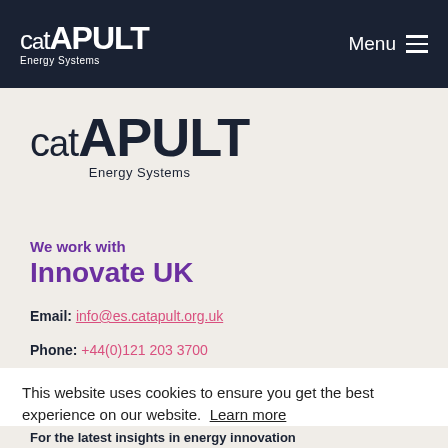CATAPULT Energy Systems — Menu
[Figure (logo): Catapult Energy Systems logo (large), dark navy text on light background]
We work with
Innovate UK
Email: info@es.catapult.org.uk
Phone: +44(0)121 203 3700
This website uses cookies to ensure you get the best experience on our website. Learn more
Decline
Allow cookies
For the latest insights in energy innovation